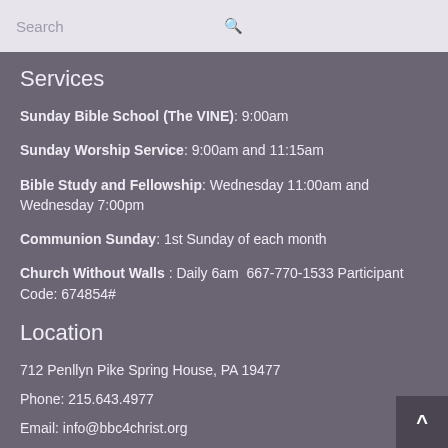Search
Services
Sunday Bible School (The VINE): 9:00am
Sunday Worship Service: 9:00am and 11:15am
Bible Study and Fellowship: Wednesday 11:00am and Wednesday 7:00pm
Communion Sunday: 1st Sunday of each month
Church Without Walls : Daily 6am  667-770-1533 Participant Code: 674854#
Location
712 Penllyn Pike Spring House, PA 19477
Phone: 215.643.4977
Email: info@bbc4christ.org